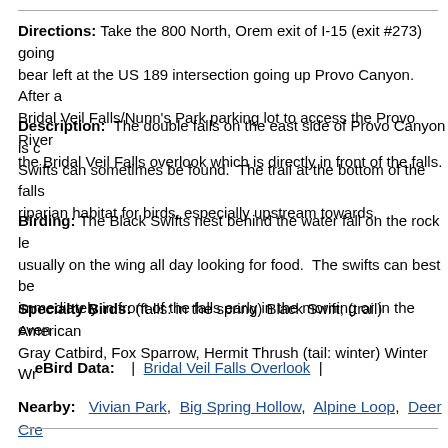Directions: Take the 800 North, Orem exit of I-15 (exit #273) going bear left at the US 189 intersection going up Provo Canyon. After a Bridal Veil Falls/Nunn's Park parking lot to access the Provo River the Bridal Veil Falls overlook which is directly in front of the falls.
Description: The double falls on the east side of Provo Canyon is c Swifts can sometimes be found. The trail at the bottom of the falls riparian habitat for birds, especially upstream towards.
Birding: The Black Swifts nest behind the water fall on the rock le usually on the wing all day looking for food. The swifts can best be immediately in front of the falls early in the morning or in the even
Specialty Birds: (falls: in the spring) Black Swift; (trail) American Gray Catbird, Fox Sparrow, Hermit Thrush (tail: winter) Winter Wr
eBird Data: | Bridal Veil Falls Overlook |
Nearby: Vivian Park, Big Spring Hollow, Alpine Loop, Deer Cre